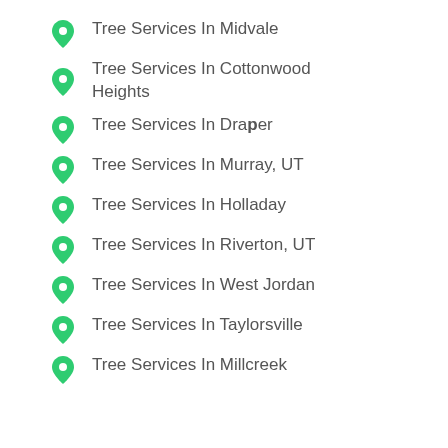Tree Services In Midvale
Tree Services In Cottonwood Heights
Tree Services In Draper
Tree Services In Murray, UT
Tree Services In Holladay
Tree Services In Riverton, UT
Tree Services In West Jordan
Tree Services In Taylorsville
Tree Services In Millcreek